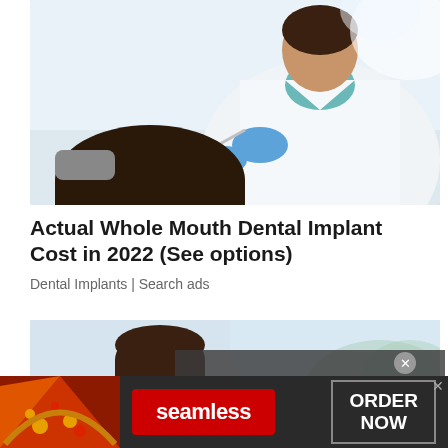[Figure (photo): Dentist in white coat and blue gloves working on a patient's teeth with dental tools, patient seated in dental chair]
Actual Whole Mouth Dental Implant Cost in 2022 (See options)
Dental Implants | Search ads
[Figure (photo): Young woman looking at camera, partially obscured by video player overlay]
No compatible source was found for this media.
[Figure (photo): Seamless food delivery advertisement banner with pizza image, Seamless logo, and ORDER NOW button]